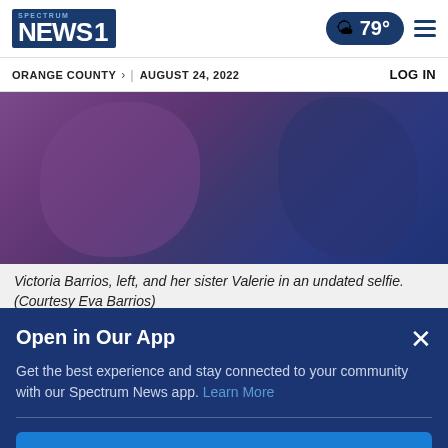Spectrum News 1 | 79° | ORANGE COUNTY | AUGUST 24, 2022 | LOG IN
[Figure (photo): Two young women (Victoria Barrios and her sister Valerie) in an undated selfie, partially visible at the top of the page]
Victoria Barrios, left, and her sister Valerie in an undated selfie. (Courtesy Eva Barrios)
Victoria wanted to go to junior college to make a
Open in Our App
Get the best experience and stay connected to your community with our Spectrum News app. Learn More
Open in Spectrum News App
Continue in Browser